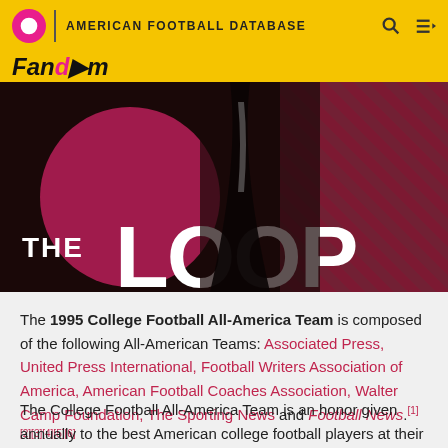AMERICAN FOOTBALL DATABASE
[Figure (illustration): Hero banner image showing 'THE LOOP' Fandom branding with dark background and diagonal stripe pattern in dark red/pink. Large bold white text reads 'THE LOOP' with a pink circle logo element.]
The 1995 College Football All-America Team is composed of the following All-American Teams: Associated Press, United Press International, Football Writers Association of America, American Football Coaches Association, Walter Camp Foundation, The Sporting News and Football News.[1][2][3][4][5][6]
The College Football All-America Team is an honor given annually to the best American college football players at their respective positions. The original usage of the term